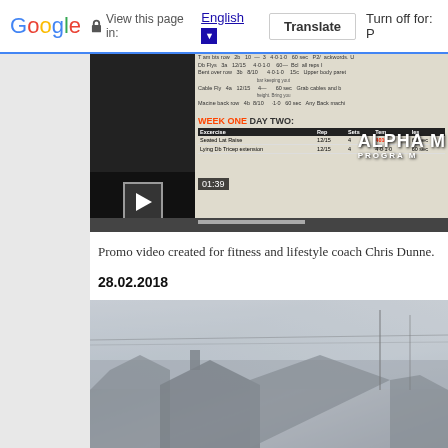Google  View this page in: English [▼]  Translate  Turn off for: P
[Figure (screenshot): Video player screenshot showing a fitness program (Alpha M) workout table with Week One Day Two exercises including Seated Lat Raise. Play button visible at bottom left with timestamp 01:39.]
Promo video created for fitness and lifestyle coach Chris Dunne.
28.02.2018
[Figure (photo): Foggy outdoor photograph showing rooftops of buildings in misty/foggy weather conditions, taken in black and white or heavily desaturated tones.]